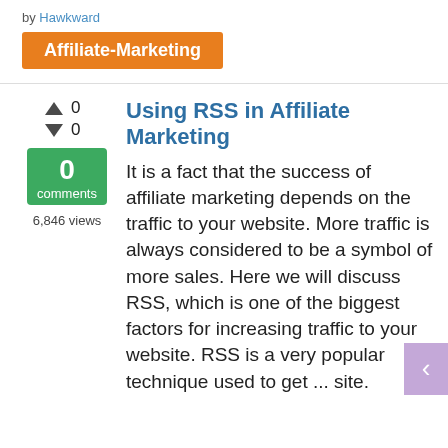by Hawkward
Affiliate-Marketing
Using RSS in Affiliate Marketing
0 (upvotes)
0 (downvotes)
0 comments
6,846 views
It is a fact that the success of affiliate marketing depends on the traffic to your website. More traffic is always considered to be a symbol of more sales. Here we will discuss RSS, which is one of the biggest factors for increasing traffic to your website. RSS is a very popular technique used to get ... site.